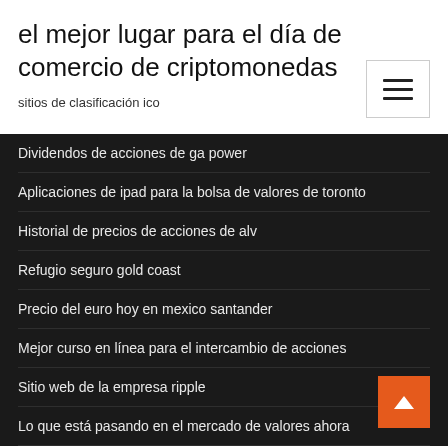el mejor lugar para el día de comercio de criptomonedas
sitios de clasificación ico
Dividendos de acciones de ga power
Aplicaciones de ipad para la bolsa de valores de toronto
Historial de precios de acciones de alv
Refugio seguro gold coast
Precio del euro hoy en mexico santander
Mejor curso en línea para el intercambio de acciones
Sitio web de la empresa ripple
Lo que está pasando en el mercado de valores ahora